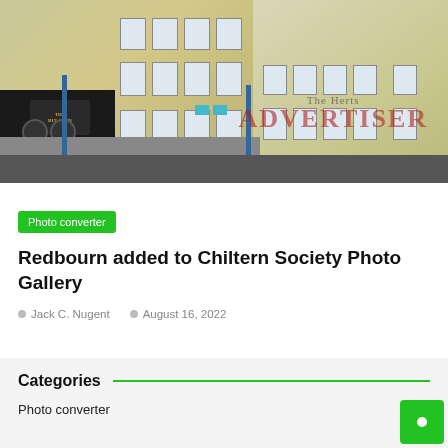[Figure (photo): Photograph of a building exterior — The Bull Inn pub on the left with a black rendered facade and pale yellow render on the right, watermarked with 'The Herts ADVERTISER']
Photo converter
Redbourn added to Chiltern Society Photo Gallery
Jack C. Nugent    August 16, 2022
Categories
Photo converter